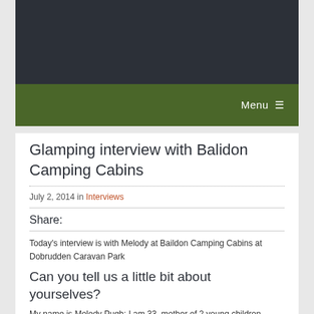Menu ≡
Glamping interview with Balidon Camping Cabins
July 2, 2014 in Interviews
Share:
Today's interview is with Melody at Baildon Camping Cabins at Dobrudden Caravan Park
Can you tell us a little bit about yourselves?
My name is Melody Pugh; I am 33, mother of 2 young children.